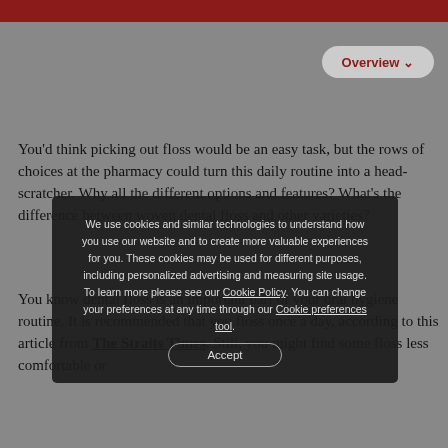[Figure (screenshot): Top red navigation banner strip at top of page]
Overview ∨
You'd think picking out floss would be an easy task, but the rows of choices at the pharmacy could turn this daily routine into a head-scratcher. Why all the different options and features? What's the difference between woven dental floss and other varieties?
You know dental floss is an important part of your oral hygiene routine. It is recommended that you floss once a day, according to this article from The Straits Times. Still, you might find some floss less comfortable or
We use cookies and similar technologies to understand how you use our website and to create more valuable experiences for you. These cookies may be used for different purposes, including personalized advertising and measuring site usage. To learn more please see our Cookie Policy. You can change your preferences at any time through our Cookie preferences tool.
Accept